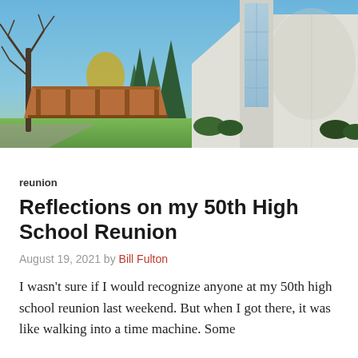[Figure (photo): Outdoor campus scene showing a modern white building with large glass tower on the right, a wooden pavilion/shelter structure on the left, bare trees, evergreen trees, and a green lawn under a blue sky.]
reunion
Reflections on my 50th High School Reunion
August 19, 2021 by Bill Fulton
I wasn’t sure if I would recognize anyone at my 50th high school reunion last weekend. But when I got there, it was like walking into a time machine. Some